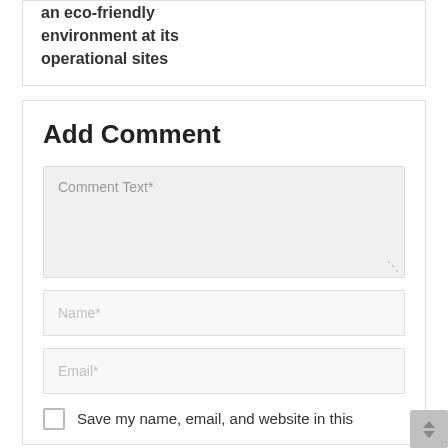an eco-friendly environment at its operational sites
Add Comment
Comment Text*
Name*
Email*
Save my name, email, and website in this